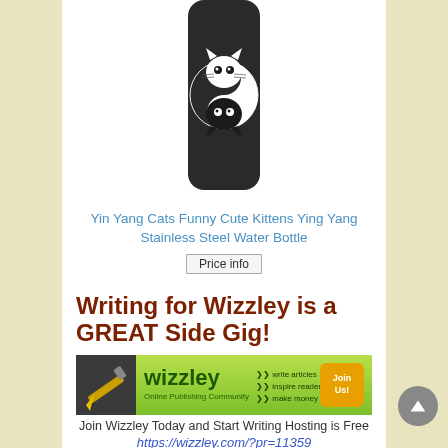[Figure (photo): Product photo of a stainless steel water bottle with yin yang cats (black and white kittens) design on a dark background]
Yin Yang Cats Funny Cute Kittens Ying Yang Stainless Steel Water Bottle
Price info
Writing for Wizzley is a GREAT Side Gig!
[Figure (logo): Wizzley Online Publishing Community banner ad with yellow pencil graphic, text: write articles, inspire readers, make money, and Join Us button]
Join Wizzley Today and Start Writing Hosting is Free
https://wizzley.com/?pr=11359